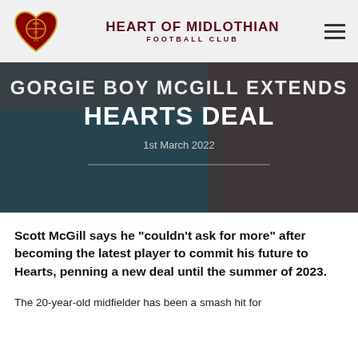HEART OF MIDLOTHIAN FOOTBALL CLUB
GORGIE BOY MCGILL EXTENDS HEARTS DEAL
1st March 2022
Scott McGill says he "couldn't ask for more" after becoming the latest player to commit his future to Hearts, penning a new deal until the summer of 2023.
The 20-year-old midfielder has been a smash hit for